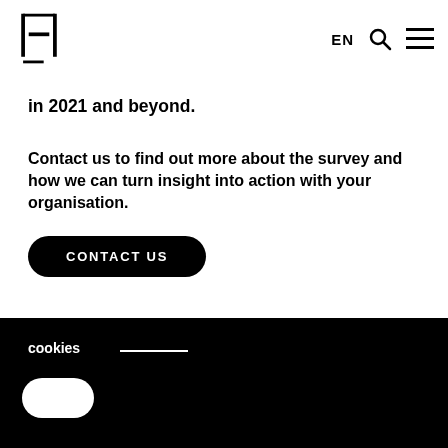H | EN [search] [menu]
in 2021 and beyond.
Contact us to find out more about the survey and how we can turn insight into action with your organisation.
CONTACT US
cookies [toggle]